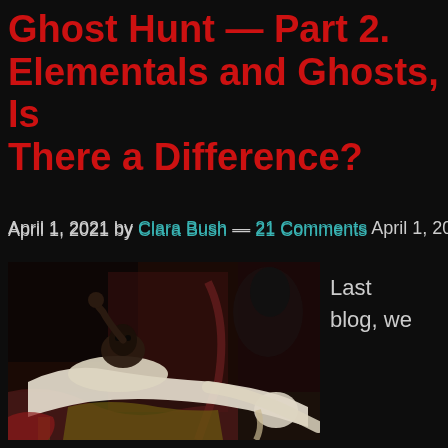Ghost Hunt — Part 2. Elementals and Ghosts, Is There a Difference?
April 1, 2021 by Clara Bush — 21 Comments
[Figure (photo): Classical painting depicting a woman lying unconscious on a bed with a demonic creature crouching on her chest and a dark horse head emerging from curtains in the background — Henry Fuseli's 'The Nightmare']
Last blog, we